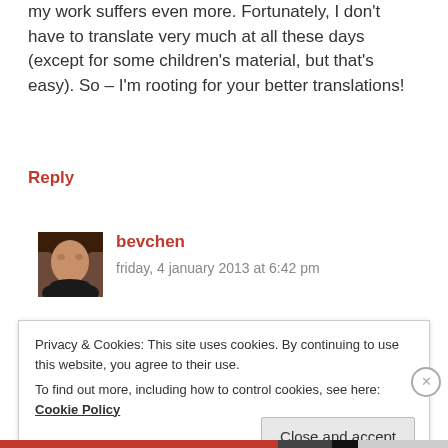my work suffers even more. Fortunately, I don't have to translate very much at all these days (except for some children's material, but that's easy). So – I'm rooting for your better translations!
Reply
[Figure (photo): Avatar photo of commenter bevchen, a woman with brown hair]
bevchen
friday, 4 january 2013 at 6:42 pm
Privacy & Cookies: This site uses cookies. By continuing to use this website, you agree to their use.
To find out more, including how to control cookies, see here: Cookie Policy